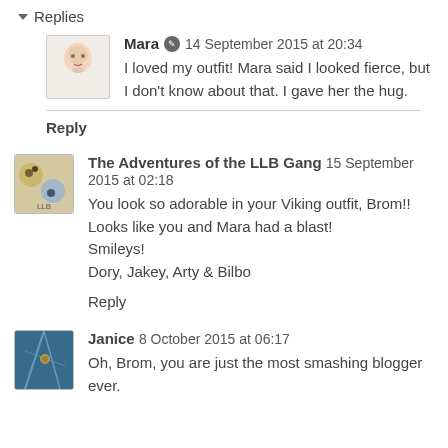▼ Replies
Mara 🔘 14 September 2015 at 20:34
I loved my outfit! Mara said I looked fierce, but I don't know about that. I gave her the hug.
Reply
The Adventures of the LLB Gang 15 September 2015 at 02:18
You look so adorable in your Viking outfit, Brom!! Looks like you and Mara had a blast!
Smileys!
Dory, Jakey, Arty & Bilbo
Reply
Janice 8 October 2015 at 06:17
Oh, Brom, you are just the most smashing blogger ever.